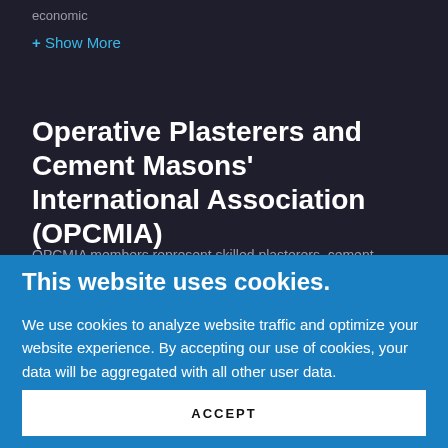economic
+ Show More
Operative Plasterers and Cement Masons' International Association (OPCMIA)
OPCMIA members represent skilled plasterers, cement
This website uses cookies.
We use cookies to analyze website traffic and optimize your website experience. By accepting our use of cookies, your data will be aggregated with all other user data.
ACCEPT